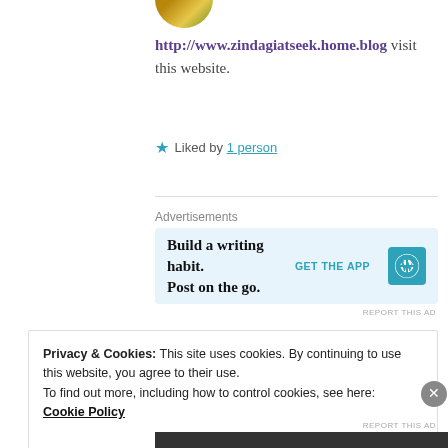[Figure (photo): Partial circular avatar image at top of page, cut off at bottom]
http://www.zindagiatseek.home.blog visit this website.
★ Liked by 1 person
Advertisements
[Figure (screenshot): WordPress app advertisement banner: 'Build a writing habit. Post on the go.' with GET THE APP button and WordPress logo]
REPORT THIS AD
[Figure (photo): Partial circular avatar image, partially visible]
Privacy & Cookies: This site uses cookies. By continuing to use this website, you agree to their use. To find out more, including how to control cookies, see here: Cookie Policy
Close and accept
REPORT THIS AD